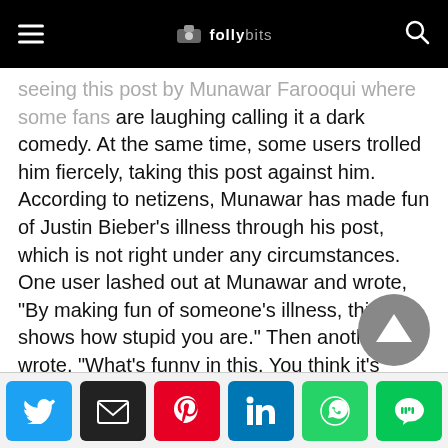Folly Bits
seeing this post by Munawar Farooqui where some fans are laughing calling it a dark comedy. At the same time, some users trolled him fiercely, taking this post against him. According to netizens, Munawar has made fun of Justin Bieber’s illness through his post, which is not right under any circumstances. One user lashed out at Munawar and wrote, “By making fun of someone’s illness, this shows how stupid you are.” Then another user wrote, “What’s funny in this. You think it’s funny to make fun of someone’s illness?” Comedian is being trolled fiercely due to this post.
[Figure (other): Social share buttons: Twitter, Email, Pinterest, LinkedIn, WhatsApp, LINE]